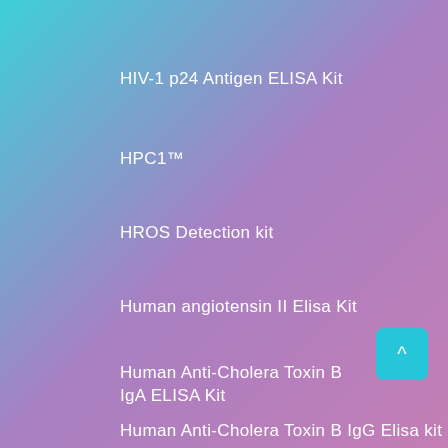HIV-1 p24 Antigen ELISA Kit
HPC1™
HROS Detection kit
Human angiotensin II Elisa Kit
Human Anti-Cholera Toxin B IgA ELISA Kit
Human Anti-Cholera Toxin B IgG Elisa kit